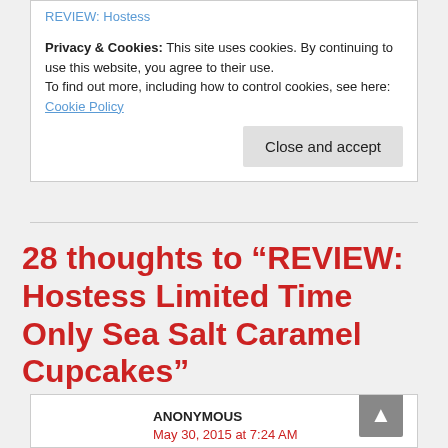REVIEW: Hostess
Privacy & Cookies: This site uses cookies. By continuing to use this website, you agree to their use.
To find out more, including how to control cookies, see here: Cookie Policy
28 thoughts to “REVIEW: Hostess Limited Time Only Sea Salt Caramel Cupcakes”
ANONYMOUS
May 30, 2015 at 7:24 AM
Please keep making the Sea Salt Caramel Cupcakes!!! They are the best !!!!